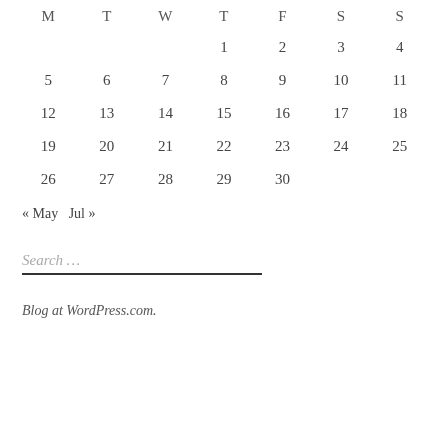| M | T | W | T | F | S | S |
| --- | --- | --- | --- | --- | --- | --- |
|  |  |  | 1 | 2 | 3 | 4 |
| 5 | 6 | 7 | 8 | 9 | 10 | 11 |
| 12 | 13 | 14 | 15 | 16 | 17 | 18 |
| 19 | 20 | 21 | 22 | 23 | 24 | 25 |
| 26 | 27 | 28 | 29 | 30 |  |  |
« May   Jul »
Search …
Blog at WordPress.com.